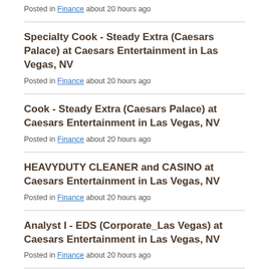Posted in Finance about 20 hours ago
Specialty Cook - Steady Extra (Caesars Palace) at Caesars Entertainment in Las Vegas, NV
Posted in Finance about 20 hours ago
Cook - Steady Extra (Caesars Palace) at Caesars Entertainment in Las Vegas, NV
Posted in Finance about 20 hours ago
HEAVYDUTY CLEANER and CASINO at Caesars Entertainment in Las Vegas, NV
Posted in Finance about 20 hours ago
Analyst I - EDS (Corporate_Las Vegas) at Caesars Entertainment in Las Vegas, NV
Posted in Finance about 20 hours ago
Guest Service Agent (Call Center) - Rotating...